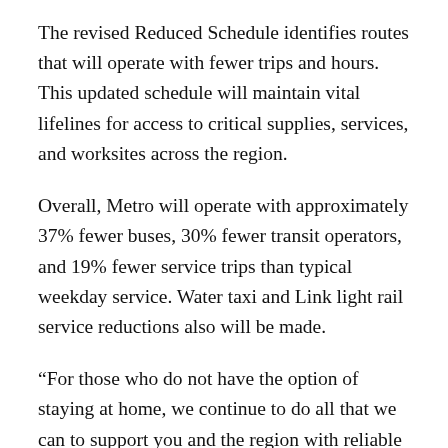The revised Reduced Schedule identifies routes that will operate with fewer trips and hours. This updated schedule will maintain vital lifelines for access to critical supplies, services, and worksites across the region.
Overall, Metro will operate with approximately 37% fewer buses, 30% fewer transit operators, and 19% fewer service trips than typical weekday service. Water taxi and Link light rail service reductions also will be made.
“For those who do not have the option of staying at home, we continue to do all that we can to support you and the region with reliable public transportation,” said King County Metro General Manager Rob Gannon.